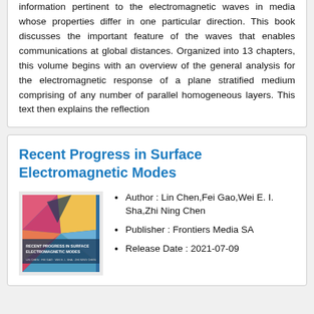information pertinent to the electromagnetic waves in media whose properties differ in one particular direction. This book discusses the important feature of the waves that enables communications at global distances. Organized into 13 chapters, this volume begins with an overview of the general analysis for the electromagnetic response of a plane stratified medium comprising of any number of parallel homogeneous layers. This text then explains the reflection
Recent Progress in Surface Electromagnetic Modes
[Figure (illustration): Book cover of 'Recent Progress in Surface Electromagnetic Modes' with colorful geometric triangular pattern in blue, pink, orange, and yellow tones]
Author : Lin Chen,Fei Gao,Wei E. I. Sha,Zhi Ning Chen
Publisher : Frontiers Media SA
Release Date : 2021-07-09